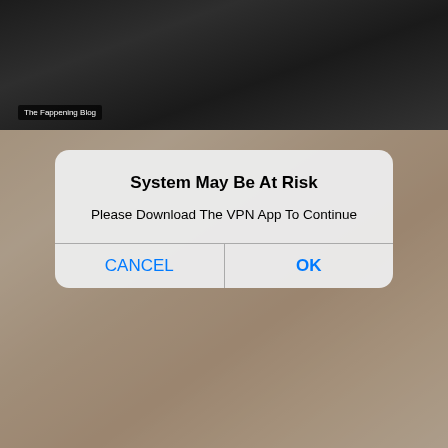[Figure (screenshot): Mobile screenshot showing two photos with an iOS-style alert dialog overlay. The top photo shows a dark background scene. The bottom photo shows a person with long blonde hair. A watermark reads 'The Fappening Blog'. An alert dialog overlays both images with the title 'System May Be At Risk', message 'Please Download The VPN App To Continue', and two buttons: CANCEL and OK.]
System May Be At Risk
⁠Please Download The VPN App To Continue⁠
CANCEL
OK